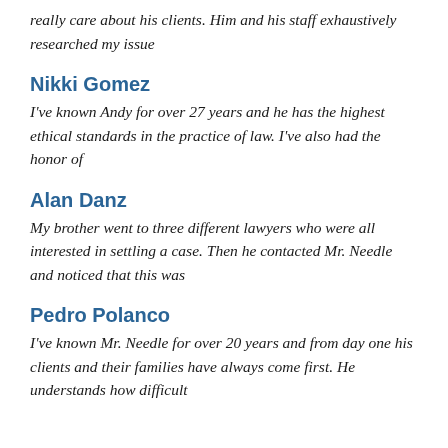really care about his clients. Him and his staff exhaustively researched my issue
Nikki Gomez
I've known Andy for over 27 years and he has the highest ethical standards in the practice of law. I've also had the honor of
Alan Danz
My brother went to three different lawyers who were all interested in settling a case. Then he contacted Mr. Needle and noticed that this was
Pedro Polanco
I've known Mr. Needle for over 20 years and from day one his clients and their families have always come first. He understands how difficult